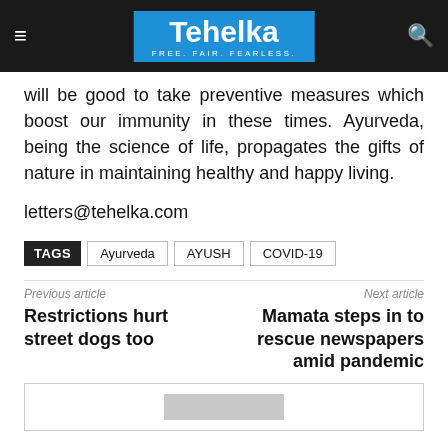Tehelka — FREE. FAIR. FEARLESS.
will be good to take preventive measures which boost our immunity in these times. Ayurveda, being the science of life, propagates the gifts of nature in maintaining healthy and happy living.
letters@tehelka.com
TAGS  Ayurveda  AYUSH  COVID-19
Previous article
Restrictions hurt street dogs too
Next article
Mamata steps in to rescue newspapers amid pandemic